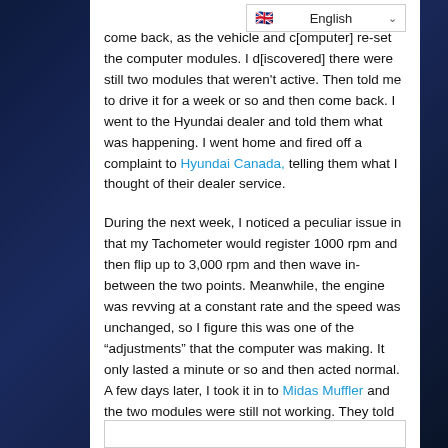English (language selector)
come back, as the vehicle and [computer] re-set the computer modules. I [checked] there were still two modules that weren't active. Then told me to drive it for a week or so and then come back. I went to the Hyundai dealer and told them what was happening. I went home and fired off a complaint to Hyundai Canada, telling them what I thought of their dealer service.
During the next week, I noticed a peculiar issue in that my Tachometer would register 1000 rpm and then flip up to 3,000 rpm and then wave in-between the two points. Meanwhile, the engine was revving at a constant rate and the speed was unchanged, so I figure this was one of the “adjustments” that the computer was making. It only lasted a minute or so and then acted normal.  A few days later, I took it in to Midas Muffler and the two modules were still not working. They told me that they can pass an eTest with one module not working, but not two. I went back to the Hyundai dealer and let them know the status and that I wasn’t happy.